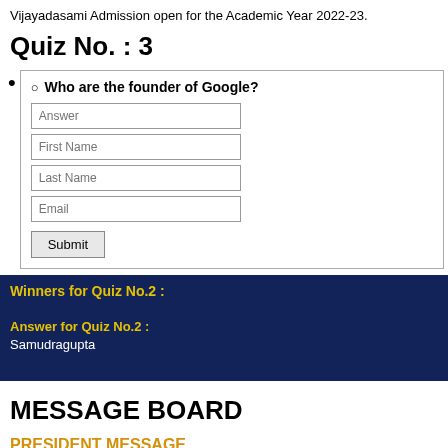Vijayadasami Admission open for the Academic Year 2022-23.
Quiz No. : 3
Who are the founder of Google? Answer, First Name, Last Name, Email, Submit
Winners for Quiz No.2 : Answer for Quiz No.2 : Samudragupta
MESSAGE BOARD
PRESIDENT MESSAGE